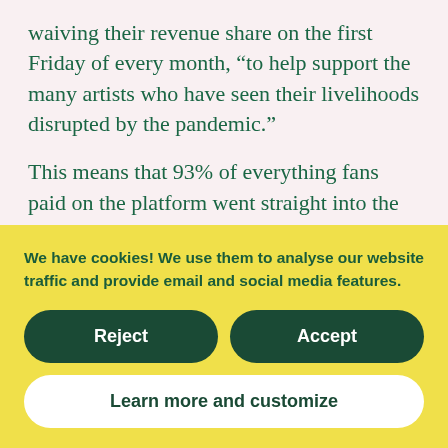waiving their revenue share on the first Friday of every month, “to help support the many artists who have seen their livelihoods disrupted by the pandemic.”
This means that 93% of everything fans paid on the platform went straight into the artists’ and record labels’ pockets (and 800,000 fans participated!). The $40 million dollars paid to
We have cookies! We use them to analyse our website traffic and provide email and social media features.
Reject
Accept
Learn more and customize